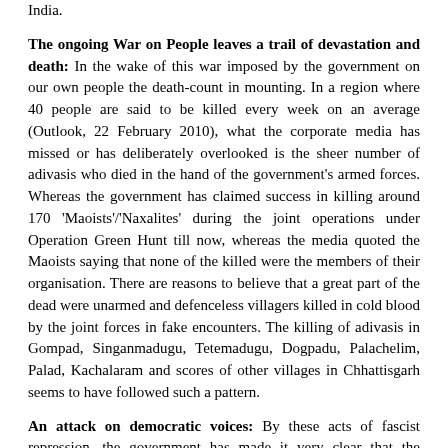India.
The ongoing War on People leaves a trail of devastation and death: In the wake of this war imposed by the government on our own people the death-count in mounting. In a region where 40 people are said to be killed every week on an average (Outlook, 22 February 2010), what the corporate media has missed or has deliberately overlooked is the sheer number of adivasis who died in the hand of the government's armed forces. Whereas the government has claimed success in killing around 170 'Maoists'/'Naxalites' during the joint operations under Operation Green Hunt till now, whereas the media quoted the Maoists saying that none of the killed were the members of their organisation. There are reasons to believe that a great part of the dead were unarmed and defenceless villagers killed in cold blood by the joint forces in fake encounters. The killing of adivasis in Gompad, Singanmadugu, Tetemadugu, Dogpadu, Palachelim, Palad, Kachalaram and scores of other villages in Chhattisgarh seems to have followed such a pattern.
An attack on democratic voices: By these acts of fascist repression, the government has made it very clear that the Naxalite movement is not the only target of its war operations. Any movement, organisation or individual that fights for people's demands and against government policies, is to be branded as a part of the